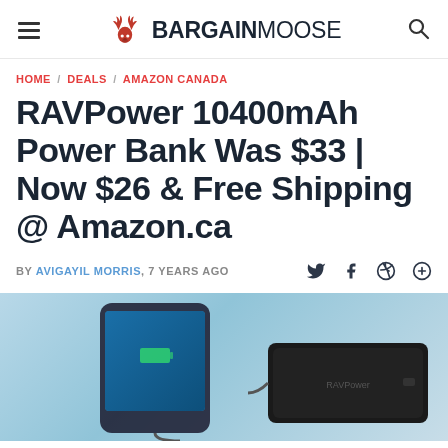BARGAINMOOSE
HOME / DEALS / AMAZON CANADA
RAVPower 10400mAh Power Bank Was $33 | Now $26 & Free Shipping @ Amazon.ca
BY AVIGAYIL MORRIS, 7 YEARS AGO
[Figure (photo): Photo of a smartphone being charged by a RAVPower 10400mAh portable power bank, showing two devices on a white background]